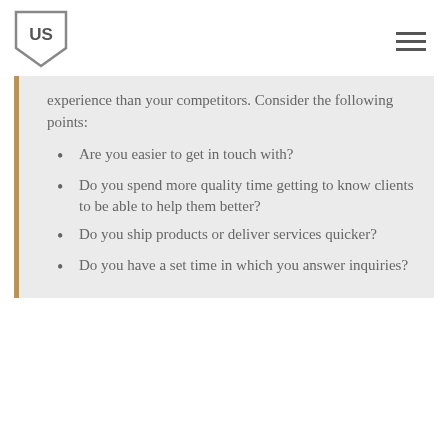US [logo with shield and hamburger menu]
experience than your competitors. Consider the following points:
Are you easier to get in touch with?
Do you spend more quality time getting to know clients to be able to help them better?
Do you ship products or deliver services quicker?
Do you have a set time in which you answer inquiries?